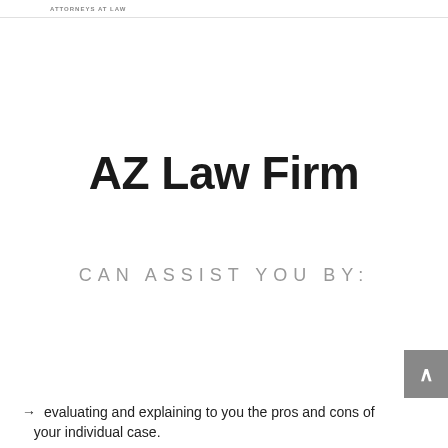ATTORNEYS AT LAW
AZ Law Firm
CAN ASSIST YOU BY:
→ evaluating and explaining to you the pros and cons of
your individual case.